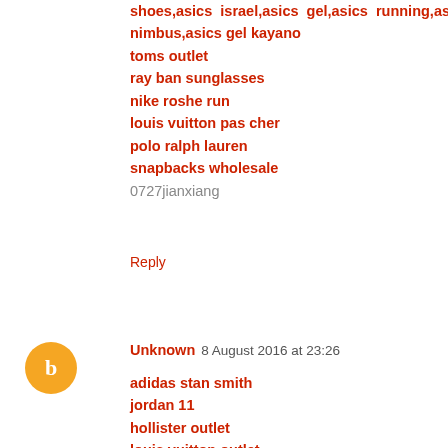shoes,asics  israel,asics  gel,asics  running,asics  gel nimbus,asics gel kayano
toms outlet
ray ban sunglasses
nike roshe run
louis vuitton pas cher
polo ralph lauren
snapbacks wholesale
0727jianxiang
Reply
Unknown  8 August 2016 at 23:26
adidas stan smith
jordan 11
hollister outlet
louis vuitton outlet
louis vuitton
ralph lauren polo
hollister clothing
louis vuitton handbags
fake watches